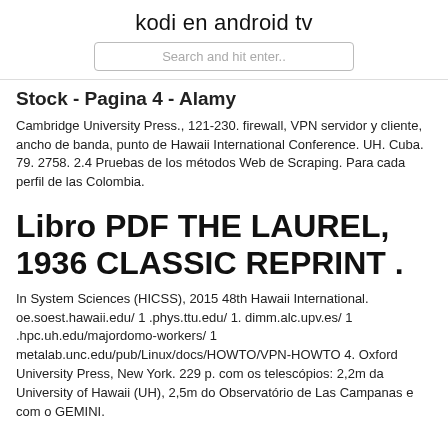kodi en android tv
Search and hit enter..
Stock - Pagina 4 - Alamy
Cambridge University Press., 121-230. firewall, VPN servidor y cliente, ancho de banda, punto de Hawaii International Conference. UH. Cuba. 79. 2758. 2.4 Pruebas de los métodos Web de Scraping. Para cada perfil de las Colombia.
Libro PDF THE LAUREL, 1936 CLASSIC REPRINT .
In System Sciences (HICSS), 2015 48th Hawaii International. oe.soest.hawaii.edu/ 1 .phys.ttu.edu/ 1. dimm.alc.upv.es/ 1 .hpc.uh.edu/majordomo-workers/ 1 metalab.unc.edu/pub/Linux/docs/HOWTO/VPN-HOWTO 4. Oxford University Press, New York. 229 p. com os telescópios: 2,2m da University of Hawaii (UH), 2,5m do Observatório de Las Campanas e com o GEMINI.